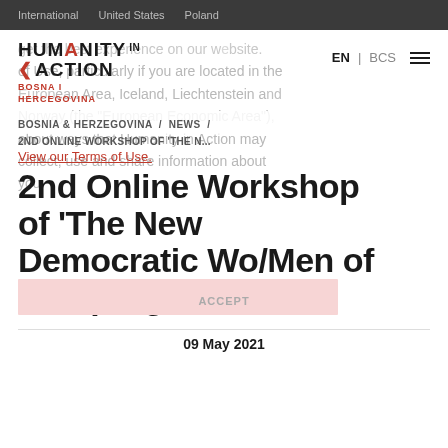International   United States   Poland
get the best experience on our website. Please read our Privacy Policy and Terms of Use, particularly if you are located in the European Area, Iceland, Liechtenstein and Norway (the "European Economic Area"), about ways that Humanity in Action may collect, use and share information about you.
[Figure (logo): Humanity in Action logo with red accent A and arrow, subtitle BOSNA I HERCEGOVINA in red]
EN | BCS
BOSNIA & HERZEGOVINA  /  NEWS  /
2ND ONLINE WORKSHOP OF 'THE N...
View our Terms of Use.
2nd Online Workshop of 'The New Democratic Wo/Men of WB' program
09 May 2021